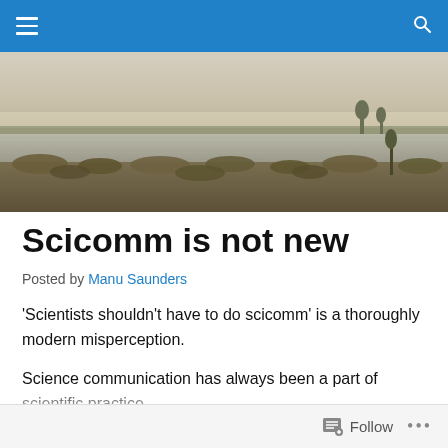Navigation bar with hamburger menu and search icon
[Figure (photo): Landscape photo of a wetland/marsh scene with water, low shrubs, and trees in the distance under a hazy sky]
Scicomm is not new
Posted by Manu Saunders
'Scientists shouldn't have to do scicomm' is a thoroughly modern misperception.
Science communication has always been a part of scientific practice...